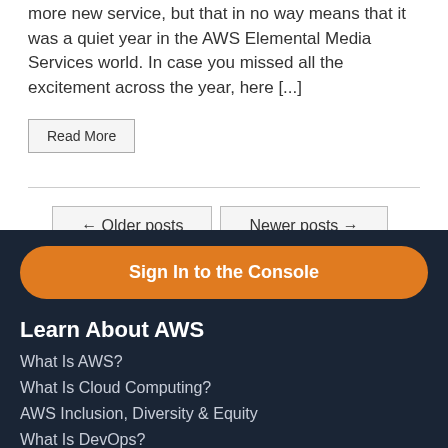more new service, but that in no way means that it was a quiet year in the AWS Elemental Media Services world. In case you missed all the excitement across the year, here [...]
Read More
← Older posts
Newer posts →
Sign In to the Console
Learn About AWS
What Is AWS?
What Is Cloud Computing?
AWS Inclusion, Diversity & Equity
What Is DevOps?
What Is Containers?